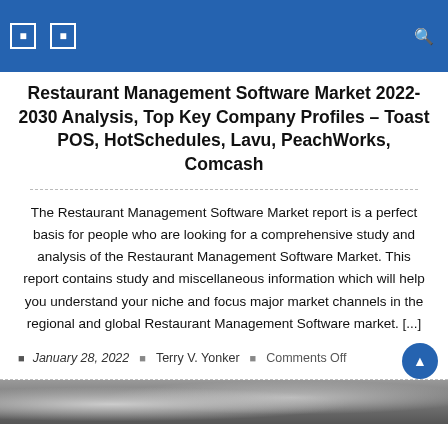Navigation bar with icons and search
Restaurant Management Software Market 2022-2030 Analysis, Top Key Company Profiles – Toast POS, HotSchedules, Lavu, PeachWorks, Comcash
The Restaurant Management Software Market report is a perfect basis for people who are looking for a comprehensive study and analysis of the Restaurant Management Software Market. This report contains study and miscellaneous information which will help you understand your niche and focus major market channels in the regional and global Restaurant Management Software market. [...]
January 28, 2022  Terry V. Yonker  Comments Off
[Figure (photo): Partial image of people or food at the bottom of the page]